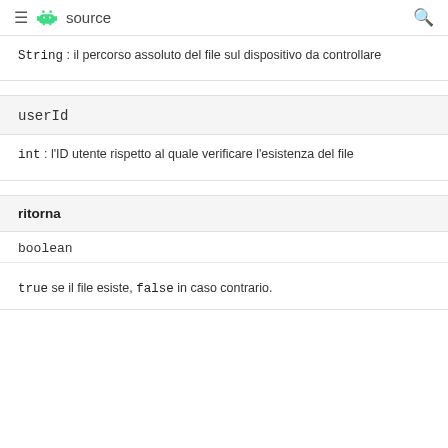≡ android source 🔍
String : il percorso assoluto del file sul dispositivo da controllare
userId
int : l'ID utente rispetto al quale verificare l'esistenza del file
ritorna
boolean
true se il file esiste, false in caso contrario.